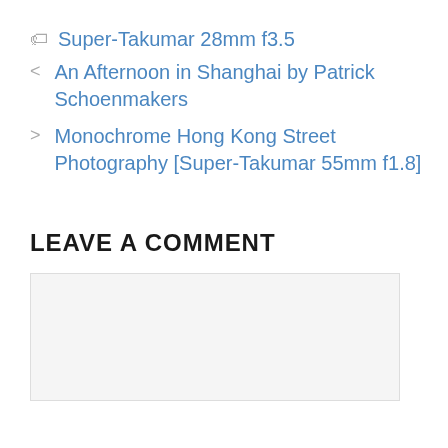Super-Takumar 28mm f3.5
< An Afternoon in Shanghai by Patrick Schoenmakers
> Monochrome Hong Kong Street Photography [Super-Takumar 55mm f1.8]
LEAVE A COMMENT